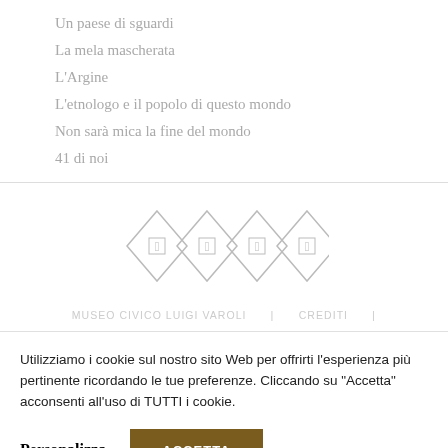Un paese di sguardi
La mela mascherata
L'Argine
L'etnologo e il popolo di questo mondo
Non sarà mica la fine del mondo
41 di noi
[Figure (illustration): Four overlapping rotated diamond (rhombus) shapes arranged in a row, each containing a small icon symbol, drawn in light gray outline style]
MUSEO CIVICO LUIGI VAROLI | CREDITI |
Utilizziamo i cookie sul nostro sito Web per offrirti l'esperienza più pertinente ricordando le tue preferenze. Cliccando su "Accetta" acconsenti all'uso di TUTTI i cookie.
Personalizza  ACCETTA